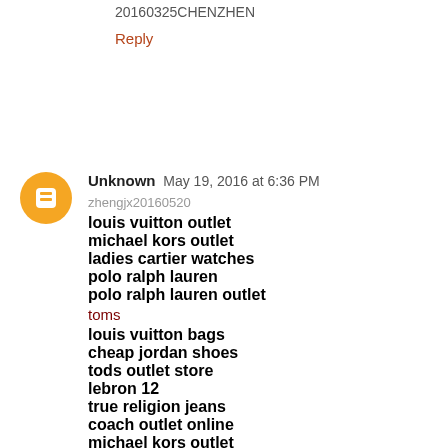20160325CHENZHEN
Reply
Unknown May 19, 2016 at 6:36 PM
zhengjx20160520
louis vuitton outlet
michael kors outlet
ladies cartier watches
polo ralph lauren
polo ralph lauren outlet
toms
louis vuitton bags
cheap jordan shoes
tods outlet store
lebron 12
true religion jeans
coach outlet online
michael kors outlet
louboutin shoes
true religion jeans